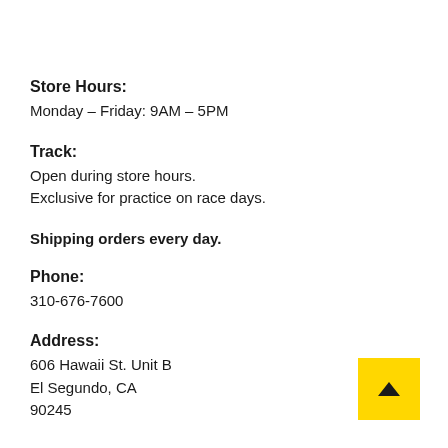Store Hours:
Monday – Friday: 9AM – 5PM
Track:
Open during store hours.
Exclusive for practice on race days.
Shipping orders every day.
Phone:
310-676-7600
Address:
606 Hawaii St. Unit B
El Segundo, CA
90245